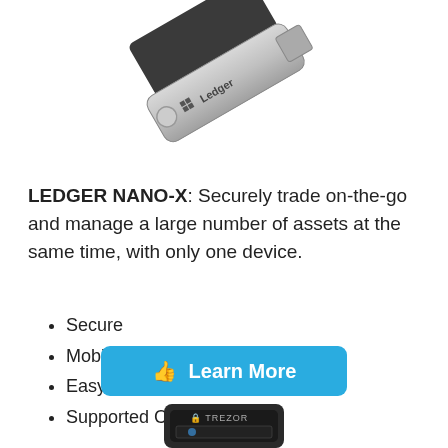[Figure (photo): Photo of Ledger Nano-X hardware wallet device (silver USB-style device) with another device behind it, showing 'Ledger' branding]
LEDGER NANO-X: Securely trade on-the-go and manage a large number of assets at the same time, with only one device.
Secure
Mobile Friendly
Easy to Manage
Supported Coins: 1200+
[Figure (other): Blue 'Learn More' button with thumbs-up icon]
[Figure (photo): Photo of Trezor hardware wallet device, black rectangular device with Trezor branding, partially visible at bottom of page]